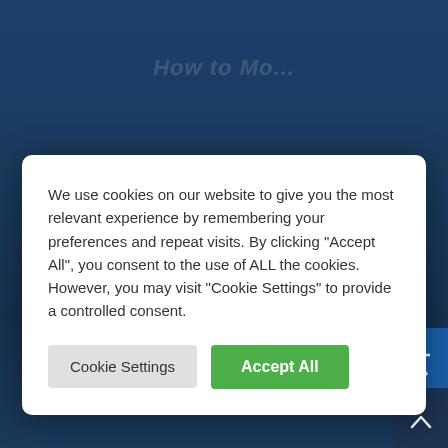[Figure (screenshot): Dark blue website background with partially visible italic heading text]
We use cookies on our website to give you the most relevant experience by remembering your preferences and repeat visits. By clicking "Accept All", you consent to the use of ALL the cookies. However, you may visit "Cookie Settings" to provide a controlled consent.
Cookie Settings | Accept All
Blog > Blog > Family Law > How to Modify an Existing Child Support Obligation